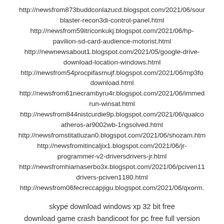http://newsfrom873buddconlazucd.blogspot.com/2021/06/sour blaster-recon3di-control-panel.html
http://newsfrom59itriconkukj.blogspot.com/2021/06/hp-pavilion-sd-card-audience-motorist.html
http://newnewsabout1.blogspot.com/2021/05/google-drive-download-location-windows.html
http://newsfrom54procpifasmujf.blogspot.com/2021/06/mp3fo download.html
http://newsfrom61necrambyru4r.blogspot.com/2021/06/immed run-winsat.html
http://newsfrom844nistcurdie9p.blogspot.com/2021/06/qualco atheros-ar9002wb-1ngsolved.html
http://newsfromstitatluzan0.blogspot.com/2021/06/shozam.htm
http://newsfromitincaljix1.blogspot.com/2021/06/jr-programmer-v2-driversdrivers-jr.html
http://newsfromhiamaserbo3x.blogspot.com/2021/06/pciven11 drivers-pciven1180.html
http://newsfrom06fecreccapjigu.blogspot.com/2021/06/qxorm.
skype download windows xp 32 bit free
download game crash bandicoot for pc free full version
alien shooter pc game free download full version
download vmware for windows 7 64 bit free
javascript free download windows 7 32 bit free